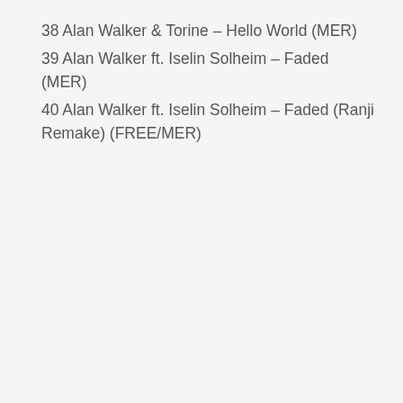38 Alan Walker & Torine – Hello World (MER)
39 Alan Walker ft. Iselin Solheim – Faded (MER)
40 Alan Walker ft. Iselin Solheim – Faded (Ranji Remake) (FREE/MER)